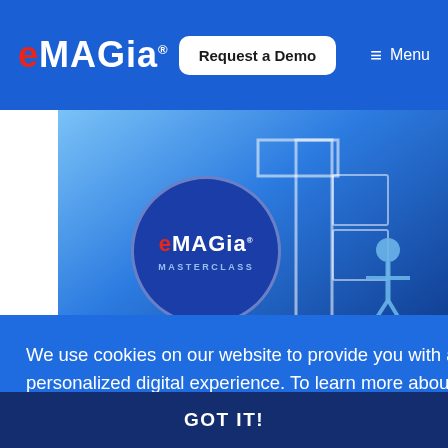eMagia — Request a Demo | Menu
[Figure (illustration): eMagia Masterclass banner with circular logo and puzzle-piece figures on blue background]
How to Optimize Deal Value in M&A Integrations
We use cookies on our website to provide you with a more personalized digital experience. To learn more about how we use cookies, please refer to our privacy policy.
GOT IT!